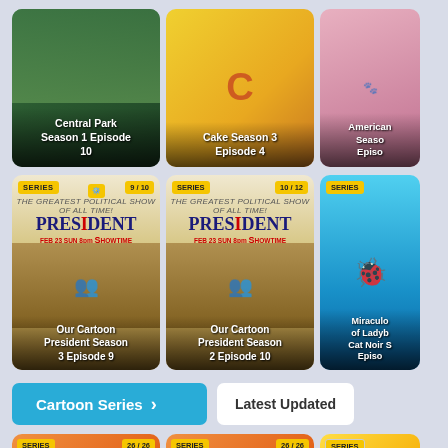[Figure (screenshot): Central Park Season 1 Episode 10 thumbnail - animated show cover]
[Figure (screenshot): Cake Season 3 Episode 4 thumbnail - yellow background with letters]
[Figure (screenshot): American Dad Season Episode thumbnail - partially visible]
[Figure (screenshot): Our Cartoon President Season 3 Episode 9 - SERIES 9/10 badge]
[Figure (screenshot): Our Cartoon President Season 2 Episode 10 - SERIES 10/12 badge]
[Figure (screenshot): Miraculous Tales of Ladybug Cat Noir Season Episode - SERIES badge, cyan background]
Cartoon Series >
Latest Updated
[Figure (screenshot): Series thumbnail SERIES 26/26 - bottom partial]
[Figure (screenshot): Series thumbnail SERIES 26/26 - bottom partial]
[Figure (screenshot): Series thumbnail SERIES - bottom partial]